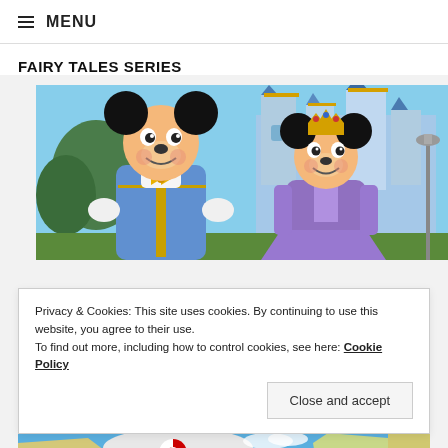≡ MENU
FAIRY TALES SERIES
[Figure (photo): Mickey Mouse and Minnie Mouse characters in princess/prince costumes standing in front of Cinderella's castle at Disney World. Mickey wearing a blue prince outfit, Minnie wearing a purple princess dress with gold crown.]
Privacy & Cookies: This site uses cookies. By continuing to use this website, you agree to their use.
To find out more, including how to control cookies, see here: Cookie Policy
NEWS PER COUNTRY
[Figure (map): A colorful map showing countries, partially visible at the bottom of the page. Greenland is visible with red and white flag colors.]